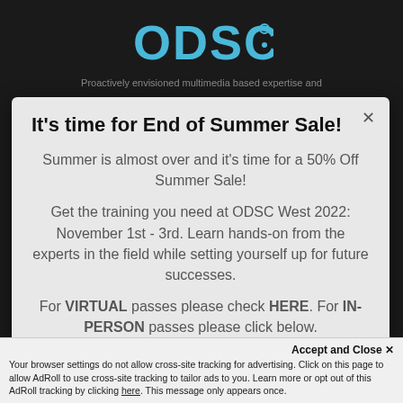[Figure (logo): ODSC logo in teal/blue color on dark background]
Proactively envisioned multimedia based expertise and
It's time for End of Summer Sale!
Summer is almost over and it's time for a 50% Off Summer Sale!
Get the training you need at ODSC West 2022: November 1st - 3rd. Learn hands-on from the experts in the field while setting yourself up for future successes.
For VIRTUAL passes please check HERE. For IN-PERSON passes please click below.
Accept and Close ✕
Your browser settings do not allow cross-site tracking for advertising. Click on this page to allow AdRoll to use cross-site tracking to tailor ads to you. Learn more or opt out of this AdRoll tracking by clicking here. This message only appears once.